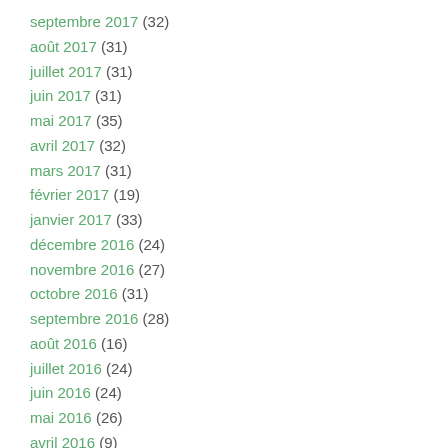septembre 2017 (32)
août 2017 (31)
juillet 2017 (31)
juin 2017 (31)
mai 2017 (35)
avril 2017 (32)
mars 2017 (31)
février 2017 (19)
janvier 2017 (33)
décembre 2016 (24)
novembre 2016 (27)
octobre 2016 (31)
septembre 2016 (28)
août 2016 (16)
juillet 2016 (24)
juin 2016 (24)
mai 2016 (26)
avril 2016 (9)